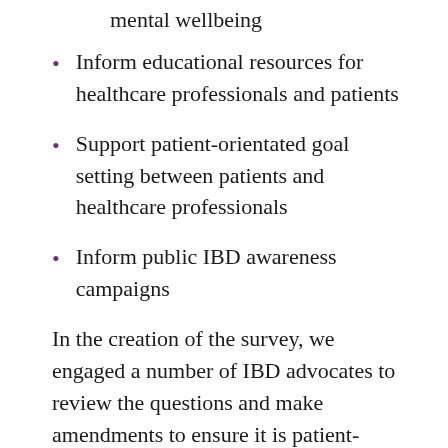mental wellbeing
Inform educational resources for healthcare professionals and patients
Support patient-orientated goal setting between patients and healthcare professionals
Inform public IBD awareness campaigns
In the creation of the survey, we engaged a number of IBD advocates to review the questions and make amendments to ensure it is patient-centred and will deliver useful and valid results.
Anyone aged 18 and over in the UK who has been diagnosed with a form of inflammatory bowel disease can participate in the survey. It takes